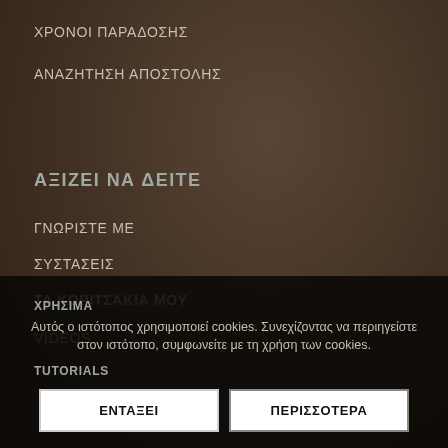ΧΡΟΝΟΙ ΠΑΡΑΔΟΣΗΣ
ΑΝΑΖΗΤΗΣΗ ΑΠΟΣΤΟΛΗΣ
ΑΞΙΖΕΙ ΝΑ ΔΕΙΤΕ
ΓΝΩΡΙΣΤΕ ΜΕ
ΣΥΣΤΑΣΕΙΣ
ΤΑ ΚΟΡΙΤΣΑΚΙΑ ΜΟΥ
VIDEOS
ΧΡΗΣΙΜΑ
TUTORIALS
Αυτός ο ιστότοπος χρησιμοποιεί cookies. Συνεχίζοντας να περιηγείστε στον ιστότοπο, συμφωνείτε με τη χρήση των cookies.
ΕΝΤΑΞΕΙ
ΠΕΡΙΣΣΟΤΕΡΑ